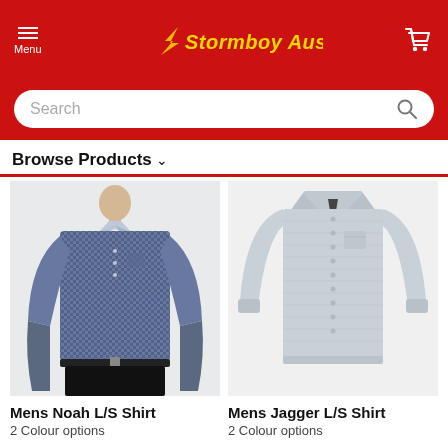Menu | Stormboy Australia | Cart
Search
Browse Products
[Figure (photo): Man wearing a navy blue/grey checkered long sleeve dress shirt with black pants and belt]
[Figure (photo): A light grey long sleeve men's dress shirt laid flat on white background]
Mens Noah L/S Shirt
2 Colour options
Mens Jagger L/S Shirt
2 Colour options